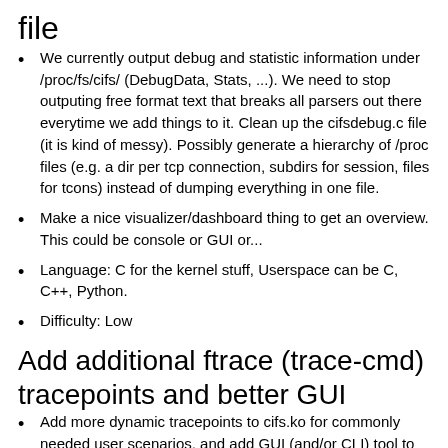file
We currently output debug and statistic information under /proc/fs/cifs/ (DebugData, Stats, ...). We need to stop outputing free format text that breaks all parsers out there everytime we add things to it. Clean up the cifsdebug.c file (it is kind of messy). Possibly generate a hierarchy of /proc files (e.g. a dir per tcp connection, subdirs for session, files for tcons) instead of dumping everything in one file.
Make a nice visualizer/dashboard thing to get an overview. This could be console or GUI or...
Language: C for the kernel stuff, Userspace can be C, C++, Python.
Difficulty: Low
Add additional ftrace (trace-cmd) tracepoints and better GUI
Add more dynamic tracepoints to cifs.ko for commonly needed user scenarios, and add GUI (and/or CLI) tool to